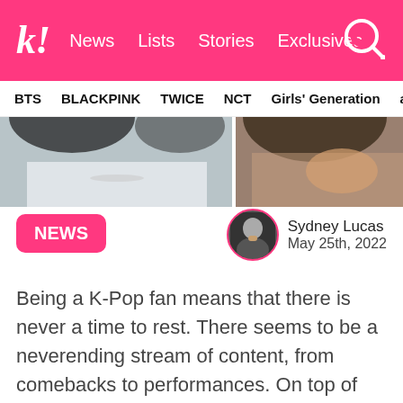k! News  Lists  Stories  Exclusives
BTS  BLACKPINK  TWICE  NCT  Girls' Generation  aespa
[Figure (photo): Hero banner showing two K-pop artists, one in a white outfit on the left and another with hair down on the right]
NEWS
Sydney Lucas
May 25th, 2022
Being a K-Pop fan means that there is never a time to rest. There seems to be a neverending stream of content, from comebacks to performances. On top of that, there are always new groups debuting, and recently, MLD Entertainment announced their newest girl group, called Lapillus.